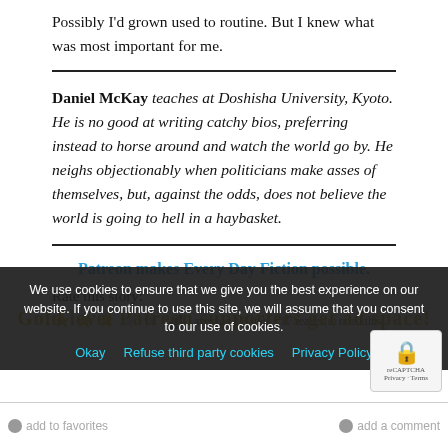Possibly I'd grown used to routine. But I knew what was most important for me.
Daniel McKay teaches at Doshisha University, Kyoto. He is no good at writing catchy bios, preferring instead to horse around and watch the world go by. He neighs objectionably when politicians make asses of themselves, but, against the odds, does not believe the world is going to hell in a haybasket.
Patreon makes Every Day Fiction possible.
Rate this story:
[Figure (other): Star rating widget showing 3 filled stars and 2 empty stars, with average 2.8 stars and 17 readers rated this.]
We use cookies to ensure that we give you the best experience on our website. If you continue to use this site, we will assume that you consent to our use of cookies.
Gold level Patreon supporters get ad space!
Okay  Refuse third party cookies  Privacy Policy